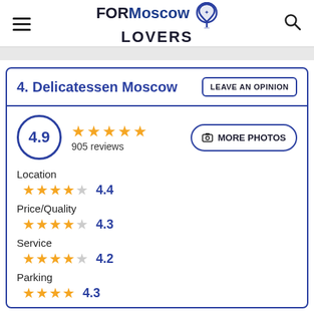FOR Moscow LOVERS
4. Delicatessen Moscow
LEAVE AN OPINION
4.9 — 905 reviews
MORE PHOTOS
Location ★★★★☆ 4.4
Price/Quality ★★★★☆ 4.3
Service ★★★★☆ 4.2
Parking ★★★★☆ 4.3